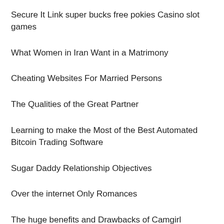Secure It Link super bucks free pokies Casino slot games
What Women in Iran Want in a Matrimony
Cheating Websites For Married Persons
The Qualities of the Great Partner
Learning to make the Most of the Best Automated Bitcoin Trading Software
Sugar Daddy Relationship Objectives
Over the internet Only Romances
The huge benefits and Drawbacks of Camgirl Websites
Successful Marriage Tricks to Avoid Divorce
Initial Date Connection Ideas